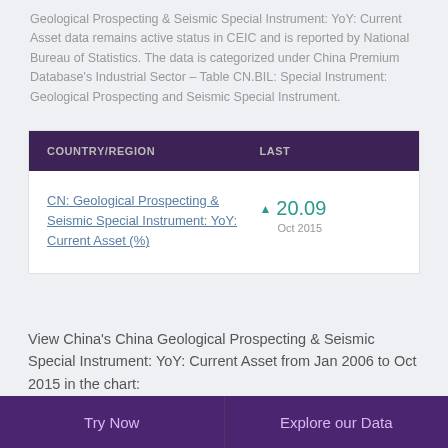Geological Prospecting & Seismic Special Instrument: YoY: Current Asset data remains active status in CEIC and is reported by National Bureau of Statistics. The data is categorized under China Premium Database's Industrial Sector – Table CN.BIL: Special Instrument: Geological Prospecting and Seismic Special Instrument.
| COUNTRY/REGION | LAST |
| --- | --- |
| CN: Geological Prospecting & Seismic Special Instrument: YoY: Current Asset (%) | ▲ 20.09
Oct 2015 |
View China's China Geological Prospecting & Seismic Special Instrument: YoY: Current Asset from Jan 2006 to Oct 2015 in the chart:
Try Now    Explore our Data